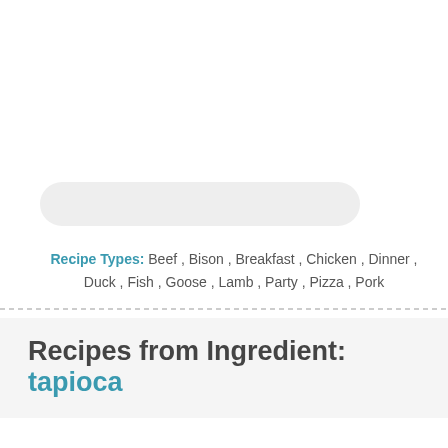[Figure (other): Search bar input field with rounded pill shape, light gray background]
Recipe Types: Beef , Bison , Breakfast , Chicken , Dinner , Duck , Fish , Goose , Lamb , Party , Pizza , Pork
Recipes from Ingredient: tapioca